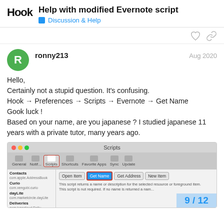Hook — Help with modified Evernote script — Discussion & Help
ronny213  Aug 2020
Hello,
Certainly not a stupid question. It's confusing.
Hook → Preferences → Scripts → Evernote → Get Name
Gook luck !
Based on your name, are you japanese ? I studied japanese 11 years with a private tutor, many years ago.
[Figure (screenshot): Screenshot of Hook Preferences Scripts panel showing Scripts tab selected (highlighted with red border) and Get Name button highlighted with red border. Left sidebar shows Contacts, Curio, dayLite, Deliveries apps. Pagination shows 9/12 in blue.]